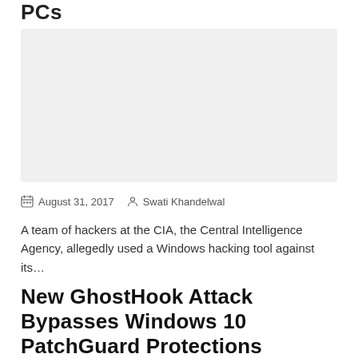PCs
[Figure (photo): Gray placeholder image for an article thumbnail]
August 31, 2017   Swati Khandelwal
A team of hackers at the CIA, the Central Intelligence Agency, allegedly used a Windows hacking tool against its…
New GhostHook Attack Bypasses Windows 10 PatchGuard Protections